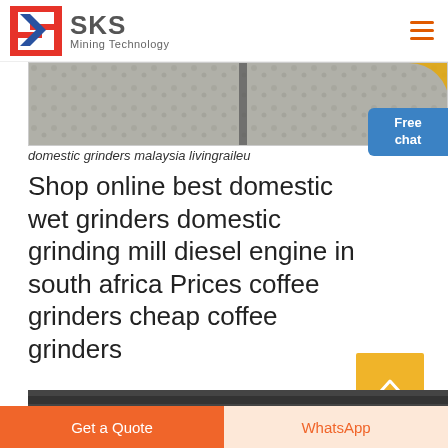SKS Mining Technology
[Figure (photo): Overhead industrial photo showing crushed stone/gravel on a surface with machinery structure visible, partial yellow drum at right edge.]
[Figure (other): Blue chat bubble widget with text: Free chat]
domestic grinders malaysia livingraileu
Shop online best domestic wet grinders domestic grinding mill diesel engine in south africa Prices coffee grinders cheap coffee grinders
Get Price
[Figure (photo): Partial image strip showing machinery, bottom of page content area]
Get a Quote | WhatsApp